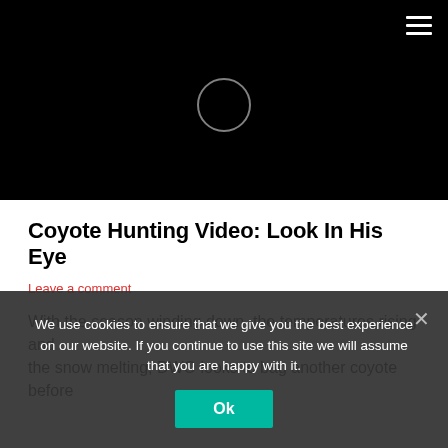[Figure (screenshot): Black video player area with a circular loading spinner in the center and a hamburger menu icon in the top right corner]
Coyote Hunting Video: Look In His Eye
Leave a comment
With the season winding down, the temperatures rising and the snow melting, DWO looks to bag another coyote before
We use cookies to ensure that we give you the best experience on our website. If you continue to use this site we will assume that you are happy with it.